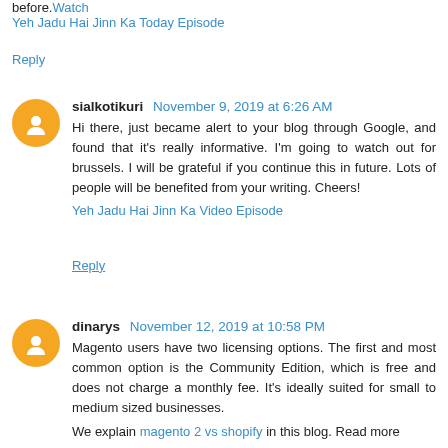before.Watch
Yeh Jadu Hai Jinn Ka Today Episode
Reply
sialkotikuri November 9, 2019 at 6:26 AM
Hi there, just became alert to your blog through Google, and found that it's really informative. I'm going to watch out for brussels. I will be grateful if you continue this in future. Lots of people will be benefited from your writing. Cheers!
Yeh Jadu Hai Jinn Ka Video Episode
Reply
dinarys November 12, 2019 at 10:58 PM
Magento users have two licensing options. The first and most common option is the Community Edition, which is free and does not charge a monthly fee. It's ideally suited for small to medium sized businesses.
We explain magento 2 vs shopify in this blog. Read more